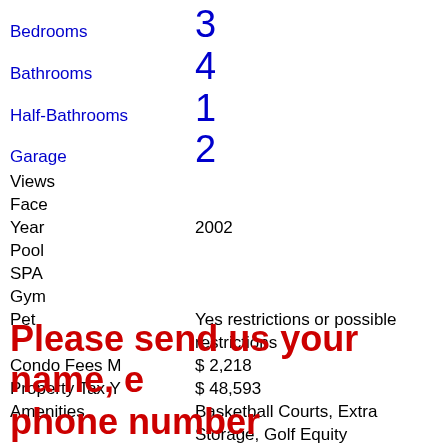Bedrooms: 3
Bathrooms: 4
Half-Bathrooms: 1
Garage: 2
Views:
Face:
Year: 2002
Pool:
SPA:
Gym:
Pet: Yes restrictions or possible restrictions
Condo Fees M: $ 2,218
Property Tax Y: $ 48,593
Amenities: Basketball Courts, Extra Storage, Golf Equity
Please send us your name, e phone number